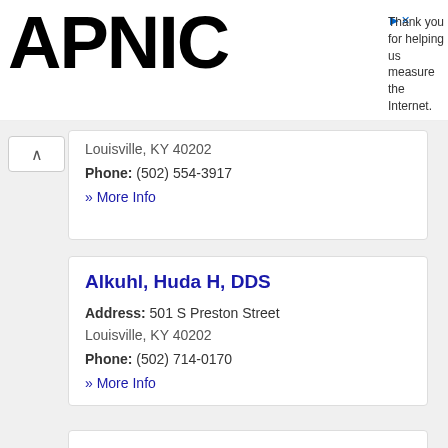APNIC — Thank you for helping us measure the Internet.
Louisville, KY 40202
Phone: (502) 554-3917
» More Info
Alkuhl, Huda H, DDS
Address: 501 S Preston Street
Louisville, KY 40202
Phone: (502) 714-0170
» More Info
Allan D Linehan DMD MS
Address: 1160 Bardstown Road